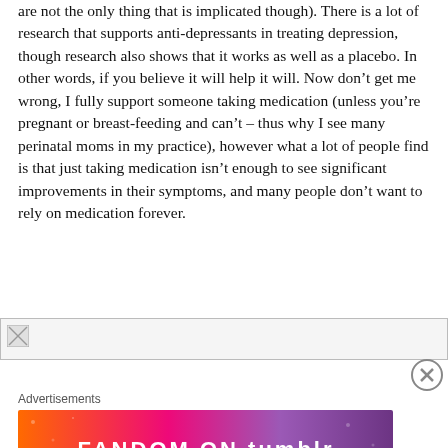are not the only thing that is implicated though). There is a lot of research that supports anti-depressants in treating depression, though research also shows that it works as well as a placebo. In other words, if you believe it will help it will. Now don't get me wrong, I fully support someone taking medication (unless you're pregnant or breast-feeding and can't – thus why I see many perinatal moms in my practice), however what a lot of people find is that just taking medication isn't enough to see significant improvements in their symptoms, and many people don't want to rely on medication forever.
[Figure (other): Broken image placeholder with small icon]
[Figure (other): Close/X button circle icon]
Advertisements
[Figure (other): Fandom on Tumblr advertisement banner with colorful orange-to-purple gradient background and bold text 'FANDOM ON tumblr']